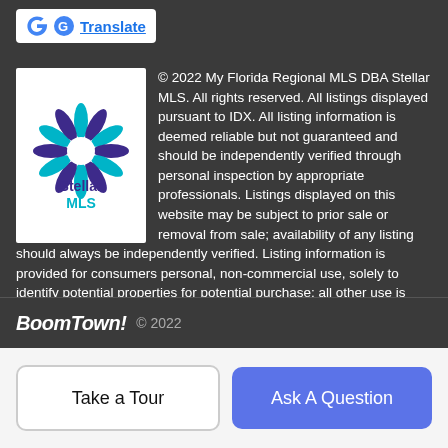Google Translate
[Figure (logo): Stellar MLS logo with colorful star/flower design and text 'Stellar MLS']
© 2022 My Florida Regional MLS DBA Stellar MLS. All rights reserved. All listings displayed pursuant to IDX. All listing information is deemed reliable but not guaranteed and should be independently verified through personal inspection by appropriate professionals. Listings displayed on this website may be subject to prior sale or removal from sale; availability of any listing should always be independently verified. Listing information is provided for consumers personal, non-commercial use, solely to identify potential properties for potential purchase; all other use is strictly prohibited and may violate relevant federal and state law. Data last updated 2022-08-19T07:46:29.693.
BoomTown! © 2022
Take a Tour
Ask A Question